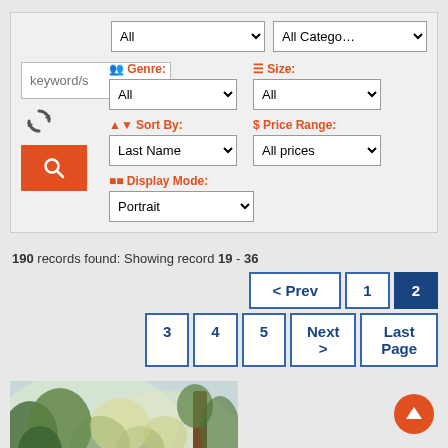[Figure (screenshot): Search filter panel with keyword input, refresh icon, orange search button, and dropdowns for Genre (All), Size (All), Sort By (Last Name), Price Range (All prices), Display Mode (Portrait). Also shows top dropdowns for All and All Category.]
190 records found: Showing record 19 - 36
[Figure (screenshot): Pagination controls: < Prev, 1, 2 (active/highlighted), 3, 4, 5, Next >, Last Page]
[Figure (photo): Partial artwork image showing a watercolor/impressionistic landscape with trees, greenery, and a brown tree trunk on the right side.]